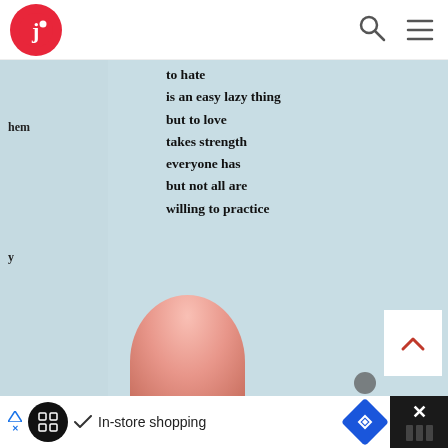[Figure (screenshot): Website header with red circular logo containing a white 'J' letter, search icon, and hamburger menu icon on white background]
[Figure (photo): Open book photographed showing a poem page with text 'to hate / is an easy lazy thing / but to love / takes strength / everyone has / but not all are / willing to practice'. A thumb is visible at the bottom holding the book open. The left page shows partial text 'hem' and 'y'. Light blue/teal background pages.]
[Figure (screenshot): Advertisement bar at bottom showing 'In-store shopping' text with circular logo, checkmark, blue diamond navigation icon, and X close button on dark background]